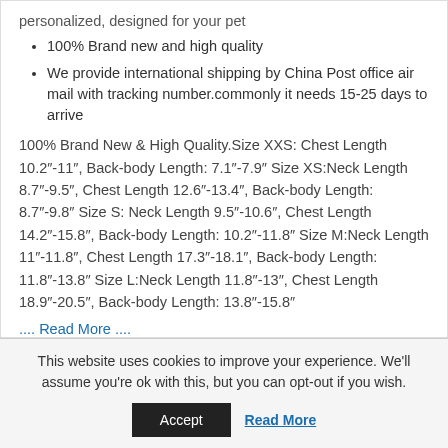personalized, designed for your pet
100% Brand new and high quality
We provide international shipping by China Post office air mail with tracking number.commonly it needs 15-25 days to arrive
100% Brand New & High Quality.Size XXS: Chest Length 10.2"-11", Back-body Length: 7.1"-7.9" Size XS:Neck Length 8.7"-9.5", Chest Length 12.6"-13.4", Back-body Length: 8.7"-9.8" Size S: Neck Length 9.5"-10.6", Chest Length 14.2"-15.8", Back-body Length: 10.2"-11.8" Size M:Neck Length 11"-11.8", Chest Length 17.3"-18.1", Back-body Length: 11.8"-13.8" Size L:Neck Length 11.8"-13", Chest Length 18.9"-20.5", Back-body Length: 13.8"-15.8"
.... Read More ....
This website uses cookies to improve your experience. We'll assume you're ok with this, but you can opt-out if you wish.
Accept
Read More